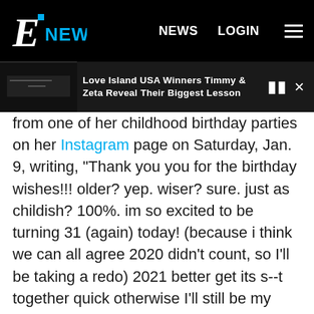E! NEWS   NEWS   LOGIN
Love Island USA Winners Timmy & Zeta Reveal Their Biggest Lesson
from one of her childhood birthday parties on her Instagram page on Saturday, Jan. 9, writing, "Thank you you for the birthday wishes!!! older? yep. wiser? sure. just as childish? 100%. im so excited to be turning 31 (again) today! (because i think we can all agree 2020 didn't count, so I'll be taking a redo) 2021 better get its s--t together quick otherwise I'll still be my [sic] 31st birthday again next year too..."
The year 2020 was certainly not all bad for Dobrev: She started dating White soon after it started. The